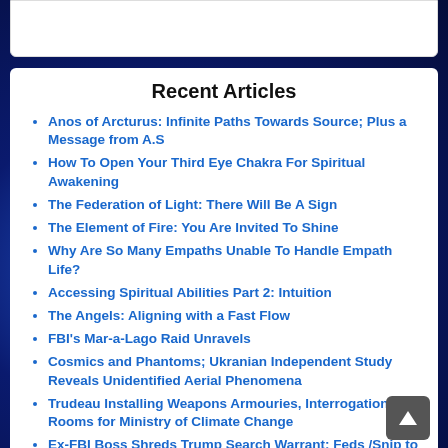Recent Articles
Anos of Arcturus: Infinite Paths Towards Source; Plus a Message from A.S
How To Open Your Third Eye Chakra For Spiritual Awakening
The Federation of Light: There Will Be A Sign
The Element of Fire: You Are Invited To Shine
Why Are So Many Empaths Unable To Handle Empath Life?
Accessing Spiritual Abilities Part 2: Intuition
The Angels: Aligning with a Fast Flow
FBI's Mar-a-Lago Raid Unravels
Cosmics and Phantoms; Ukranian Independent Study Reveals Unidentified Aerial Phenomena
Trudeau Installing Weapons Armouries, Interrogation Rooms for Ministry of Climate Change
Ex-FBI Boss Shreds Trump Search Warrant: Feds /Snip to Report This...